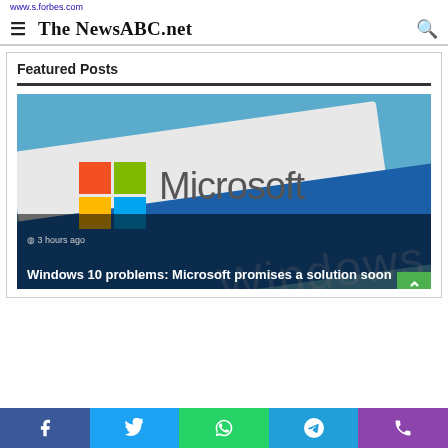www.s.forbes.com
The NewsABC.net
Featured Posts
[Figure (photo): Microsoft logo card with Windows 10 text in background, blue sky]
3 hours ago
Windows 10 problems: Microsoft promises a solution soon